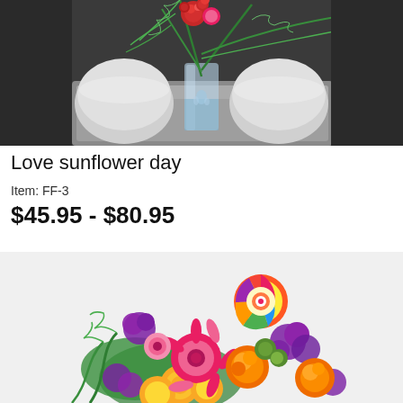[Figure (photo): Photo of a flower arrangement with red roses and green ferns in a glass vase, with white foam blocks on the sides, in a metal container with water]
Love sunflower day
Item: FF-3
$45.95 - $80.95
[Figure (photo): Photo of a colorful mixed flower bouquet with pink gerbera daisies, orange roses, yellow chrysanthemums, purple statice, and a colorful pinwheel decoration, on white background]